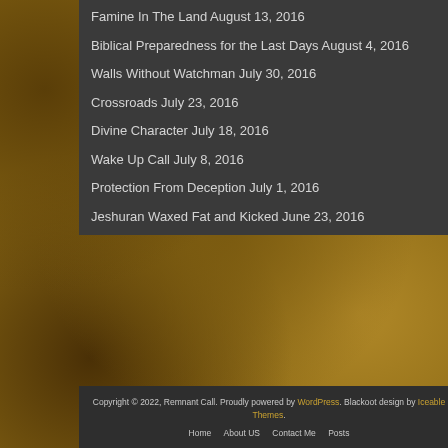Famine In The Land August 13, 2016
Biblical Preparedness for the Last Days August 4, 2016
Walls Without Watchman July 30, 2016
Crossroads July 23, 2016
Divine Character July 18, 2016
Wake Up Call July 8, 2016
Protection From Deception July 1, 2016
Jeshuran Waxed Fat and Kicked June 23, 2016
Copyright © 2022, Remnant Call. Proudly powered by WordPress. Blackoot design by Iceable Themes. Home  About US  Contact Me  Posts